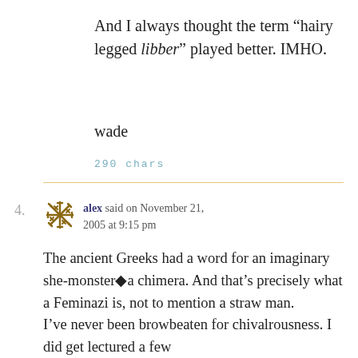And I always thought the term “hairy legged libber” played better. IMHO.
wade
290 chars
4.
alex said on November 21, 2005 at 9:15 pm
The ancient Greeks had a word for an imaginary she-monster�a chimera. And that’s precisely what a Feminazi is, not to mention a straw man.
I’ve never been browbeaten for chivalrousness. I did get lectured a few